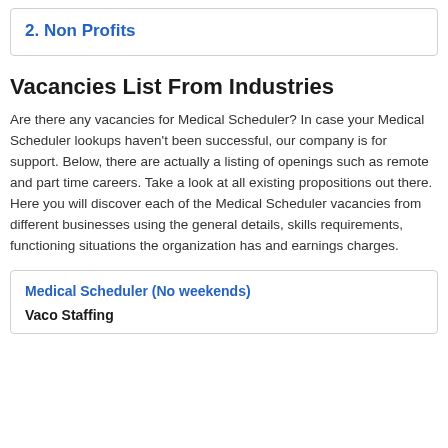2. Non Profits
Vacancies List From Industries
Are there any vacancies for Medical Scheduler? In case your Medical Scheduler lookups haven't been successful, our company is for support. Below, there are actually a listing of openings such as remote and part time careers. Take a look at all existing propositions out there. Here you will discover each of the Medical Scheduler vacancies from different businesses using the general details, skills requirements, functioning situations the organization has and earnings charges.
Medical Scheduler (No weekends)
Vaco Staffing